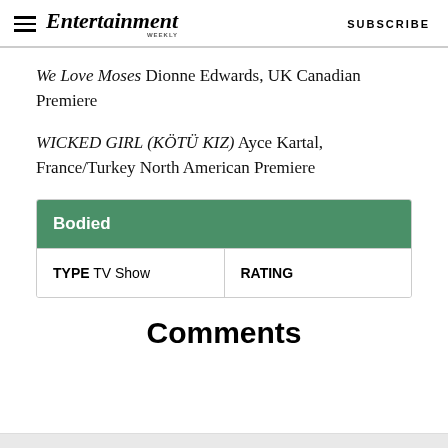Entertainment Weekly — SUBSCRIBE
We Love Moses Dionne Edwards, UK Canadian Premiere
WICKED GIRL (KÖTÜ KIZ) Ayce Kartal, France/Turkey North American Premiere
| Bodied |
| --- |
| TYPE  TV Show | RATING |
Comments